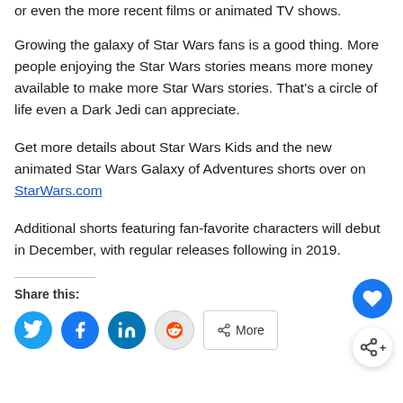or even the more recent films or animated TV shows.
Growing the galaxy of Star Wars fans is a good thing. More people enjoying the Star Wars stories means more money available to make more Star Wars stories. That's a circle of life even a Dark Jedi can appreciate.
Get more details about Star Wars Kids and the new animated Star Wars Galaxy of Adventures shorts over on StarWars.com
Additional shorts featuring fan-favorite characters will debut in December, with regular releases following in 2019.
Share this: